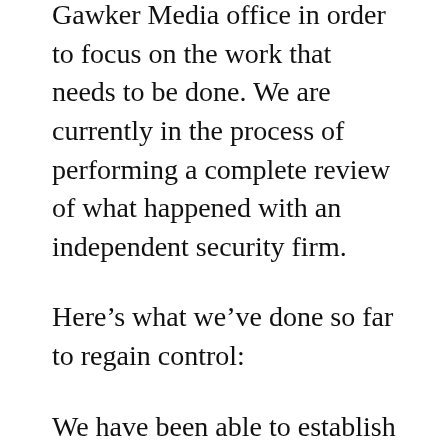Gawker Media office in order to focus on the work that needs to be done. We are currently in the process of performing a complete review of what happened with an independent security firm.
Here’s what we’ve done so far to regain control:
We have been able to establish a fairly complete timeline of intrusion activity, and have identified compromised assets within Gawker. We have re-established control of